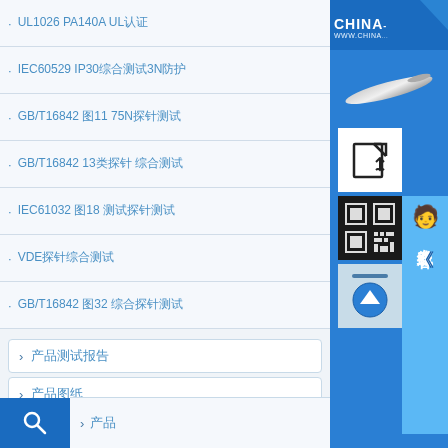UL1026 PA140A UL认证
IEC60529 IP30综合测试3N防护
GB/T16842 图11 75N探针测试
GB/T16842 13类探针 综合测试
IEC61032 图18 测试探针测试
VDE探针综合测试
GB/T16842 图32 综合探针测试
产品测试报告
产品图纸
产品材质
测试报告
联系我们
[Figure (screenshot): Right panel with CHINA brand banner, probe image, QR code, online service icons and contact sidebar]